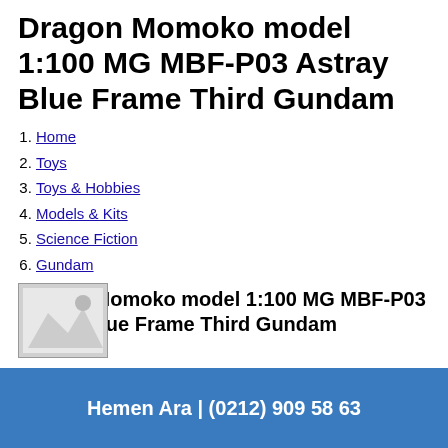Dragon Momoko model 1:100 MG MBF-P03 Astray Blue Frame Third Gundam
Home
Toys
Toys & Hobbies
Models & Kits
Science Fiction
Gundam
Dragon Momoko model 1:100 MG MBF-P03 Astray Blue Frame Third Gundam
[Figure (photo): Product image placeholder thumbnail]
Hemen Ara | (0212) 909 58 63